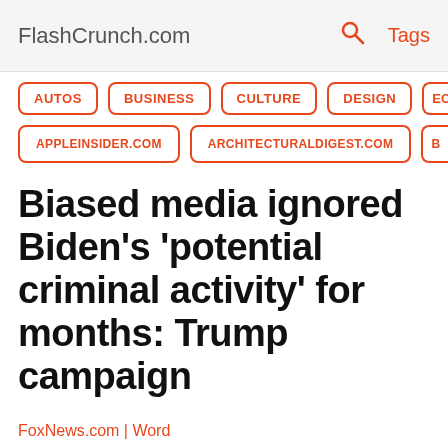FlashCrunch.com   🔍   Tags
AUTOS | BUSINESS | CULTURE | DESIGN | ECOI
APPLEINSIDER.COM | ARCHITECTURALDIGEST.COM | B
Biased media ignored Biden's 'potential criminal activity' for months: Trump campaign
FoxNews.com | Word
Trump 2020 national press secretary Hogan Gidley